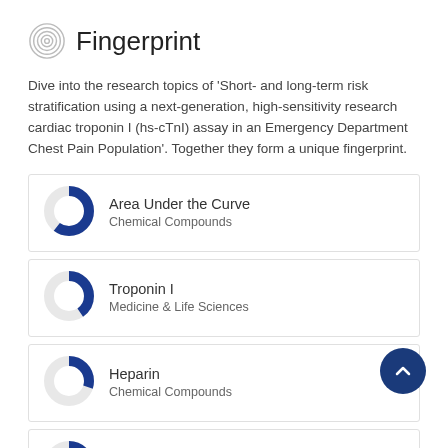Fingerprint
Dive into the research topics of 'Short- and long-term risk stratification using a next-generation, high-sensitivity research cardiac troponin I (hs-cTnI) assay in an Emergency Department Chest Pain Population'. Together they form a unique fingerprint.
[Figure (donut-chart): Donut chart approximately 85% filled in dark blue, representing Area Under the Curve, Chemical Compounds]
Area Under the Curve
Chemical Compounds
[Figure (donut-chart): Donut chart approximately 65% filled in dark blue, representing Troponin I, Medicine & Life Sciences]
Troponin I
Medicine & Life Sciences
[Figure (donut-chart): Donut chart approximately 55% filled in dark blue, representing Heparin, Chemical Compounds]
Heparin
Chemical Compounds
[Figure (donut-chart): Donut chart partially visible, representing Chest Pain]
Chest Pain